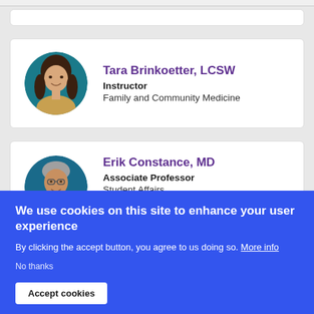[Figure (photo): Profile photo of Tara Brinkoetter, circular crop, woman with dark hair]
Tara Brinkoetter, LCSW
Instructor
Family and Community Medicine
[Figure (photo): Profile photo of Erik Constance, circular crop, older man with glasses]
Erik Constance, MD
Associate Professor
Student Affairs
We use cookies on this site to enhance your user experience
By clicking the accept button, you agree to us doing so. More info
No thanks